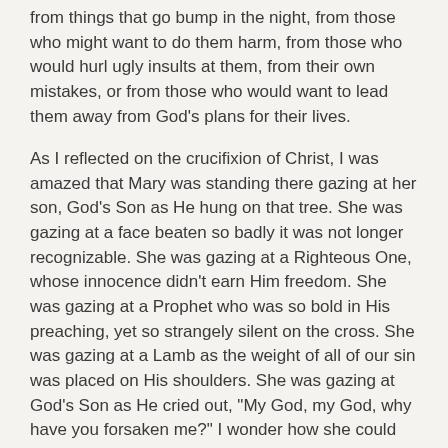from things that go bump in the night, from those who might want to do them harm, from those who would hurl ugly insults at them, from their own mistakes, or from those who would want to lead them away from God's plans for their lives.
As I reflected on the crucifixion of Christ, I was amazed that Mary was standing there gazing at her son, God's Son as He hung on that tree. She was gazing at a face beaten so badly it was not longer recognizable. She was gazing at a Righteous One, whose innocence didn't earn Him freedom. She was gazing at a Prophet who was so bold in His preaching, yet so strangely silent on the cross. She was gazing at a Lamb as the weight of all of our sin was placed on His shoulders. She was gazing at God's Son as He cried out, "My God, my God, why have you forsaken me?" I wonder how she could bear the breaking of her own heart to stand their watching as the wrath of God for our sin was being poured out on Him. I wonder if she stayed to the end to watch as they took Him down and laid Him to rest. I also wondered what joy flooded her soul as she laid eyes on the Son of Man after He had risen from the grave. How did she